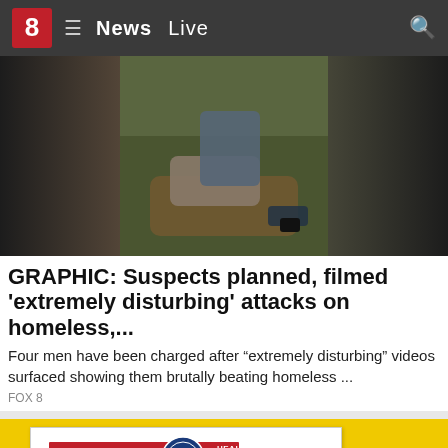8 News Live
[Figure (photo): News video thumbnail showing two people on the ground outdoors]
GRAPHIC: Suspects planned, filmed 'extremely disturbing' attacks on homeless,...
Four men have been charged after "extremely disturbing" videos surfaced showing them brutally beating homeless ...
FOX 8
[Figure (photo): Medicare Health Insurance card showing 1-800-MEDICARE (1-800-633-4227) and NAME OF BENEFICIARY on a yellow background]